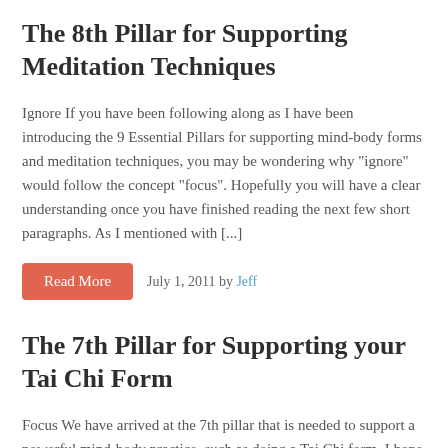The 8th Pillar for Supporting Meditation Techniques
Ignore If you have been following along as I have been introducing the 9 Essential Pillars for supporting mind-body forms and meditation techniques, you may be wondering why “ignore” would follow the concept “focus”. Hopefully you will have a clear understanding once you have finished reading the next few short paragraphs. As I mentioned with [...]
Read More   July 1, 2011 by Jeff
The 7th Pillar for Supporting your Tai Chi Form
Focus We have arrived at the 7th pillar that is needed to support a powerful mind-body practice, such as doing a Tai Chi form.  I hope